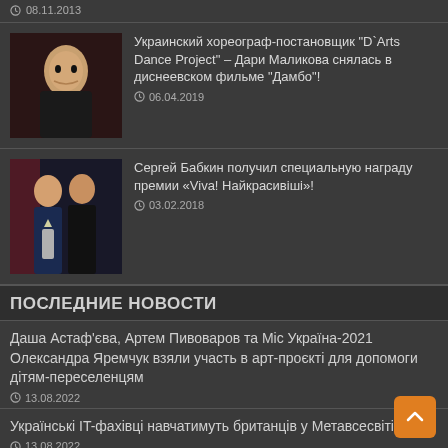08.11.2013
[Figure (photo): Star Wars movie poster thumbnail]
Украинский хореограф-постановщик "D`Arts Dance Project" – Дари Маликова снялась в диснеевском фильме "Дамбо"!
06.04.2019
[Figure (photo): Woman with dramatic makeup and dark clothing]
Сергей Бабкин получил специальную награду премии «Viva! Найкрасивіші»!
03.02.2018
[Figure (photo): Couple at awards ceremony, woman in blue dress]
ПОСЛЕДНИЕ НОВОСТИ
Даша Астаф'єва, Артем Пивоваров та Міс Україна-2021 Олександра Яремчук взяли участь в арт-проєкті для допомоги дітям-переселенцям
13.08.2022
Українські IT-фахівці навчатимуть британців у Метавсесвіті
13.08.2022
24. ДО І ПІСЛЯ
13.08.2022